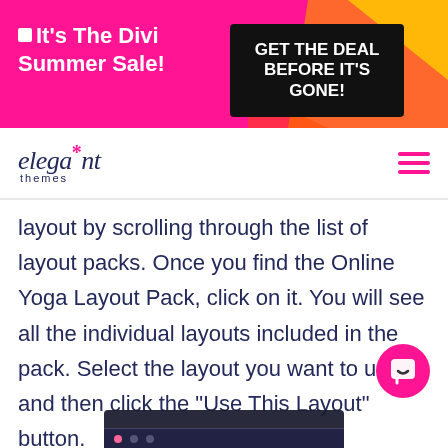[Figure (screenshot): Pink promotional banner for Divi Summer Sale with black CTA button 'GET THE DEAL BEFORE IT'S GONE!']
[Figure (logo): Elegant Themes logo with pink asterisk and hamburger menu]
layout by scrolling through the list of layout packs. Once you find the Online Yoga Layout Pack, click on it. You will see all the individual layouts included in the pack. Select the layout you want to use and then click the “Use This Layout” button.
[Figure (screenshot): Partial screenshot of a website layout selector interface at the bottom of the page]